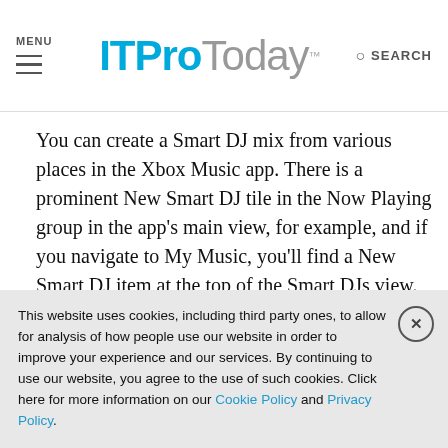MENU | ITProToday | SEARCH
You can create a Smart DJ mix from various places in the Xbox Music app. There is a prominent New Smart DJ tile in the Now Playing group in the app's main view, for example, and if you navigate to My Music, you'll find a New Smart DJ item at the top of the Smart DJs view.
To create a Smart DJ mix, tap the appropriate link and enter an artist name.
This website uses cookies, including third party ones, to allow for analysis of how people use our website in order to improve your experience and our services. By continuing to use our website, you agree to the use of such cookies. Click here for more information on our Cookie Policy and Privacy Policy.